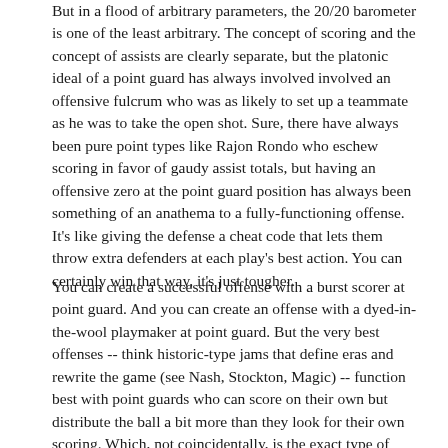But in a flood of arbitrary parameters, the 20/20 barometer is one of the least arbitrary. The concept of scoring and the concept of assists are clearly separate, but the platonic ideal of a point guard has always involved involved an offensive fulcrum who was as likely to set up a teammate as he was to take the open shot. Sure, there have always been pure point types like Rajon Rondo who eschew scoring in favor of gaudy assist totals, but having an offensive zero at the point guard position has always been something of an anathema to a fully-functioning offense. It's like giving the defense a cheat code that lets them throw extra defenders at each play's best action. You can certainly win that way, it's just tougher.
You can create a successful offense with a burst scorer at point guard. And you can create an offense with a dyed-in-the-wool playmaker at point guard. But the very best offenses -- think historic-type jams that define eras and rewrite the game (see Nash, Stockton, Magic) -- function best with point guards who can score on their own but distribute the ball a bit more than they look for their own scoring. Which, not coincidentally, is the exact type of point guard a 20/20